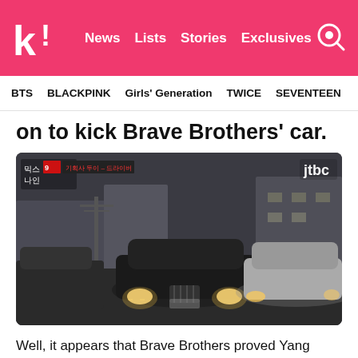koreaboo — News  Lists  Stories  Exclusives
BTS   BLACKPINK   Girls' Generation   TWICE   SEVENTEEN
on to kick Brave Brothers' car.
[Figure (photo): A JTBC news broadcast screenshot showing two cars — a dark Maybach and a silver sedan — driving on a Korean street at dusk, with Seoul buildings and utility poles in the background. JTBC logo visible top-right.]
Well, it appears that Brave Brothers proved Yang Hyun Suk wrong with the recent success